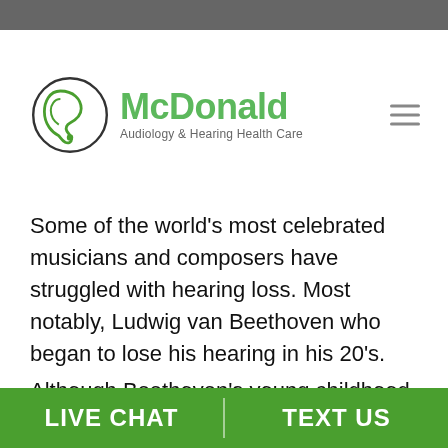[Figure (logo): McDonald Audiology & Hearing Health Care logo with ear icon and green text]
Some of the world’s most celebrated musicians and composers have struggled with hearing loss. Most notably, Ludwig van Beethoven who began to lose his hearing in his 20’s.
Although Beethoven’s young childhood musical training would be regarded as extreme by present standards, the groundwork of the training might have been the gateway to prolonging his career as a composer. Over the last 10 years of his life, Beethoven
LIVE CHAT   TEXT US